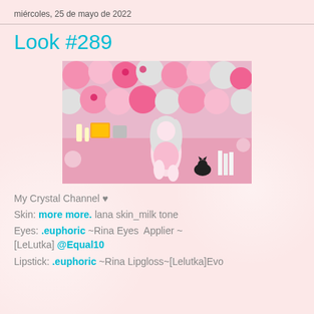miércoles, 25 de mayo de 2022
Look #289
[Figure (photo): Second Life avatar character: a white-haired female character in pink outfit surrounded by large pink and white kawaii plush toy figures on a pink floral background, with a black cat and various decorative items]
My Crystal Channel ♥
Skin: more more. lana skin_milk tone
Eyes: .euphoric ~Rina Eyes  Applier ~ [LeLutka] @Equal10
Lipstick: .euphoric ~Rina Lipgloss~[Lelutka]Evo